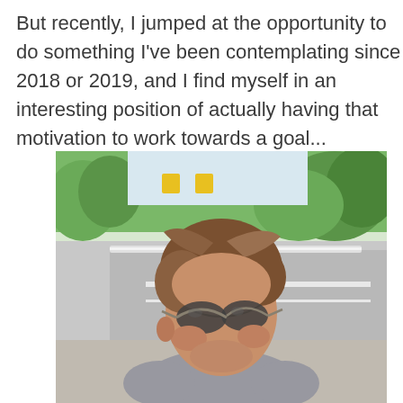But recently, I jumped at the opportunity to do something I've been contemplating since 2018 or 2019, and I find myself in an interesting position of actually having that motivation to work towards a goal...
[Figure (photo): Outdoor selfie of a woman with brown hair wearing sunglasses and a grey sleeveless top, taken near a road or highway with green trees and guardrails visible in the background on a bright day.]